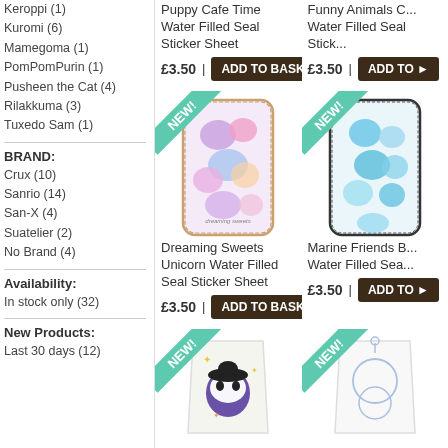Keroppi (1)
Kuromi (6)
Mamegoma (1)
PomPomPurin (1)
Pusheen the Cat (4)
Rilakkuma (3)
Tuxedo Sam (1)
BRAND:
Crux (10)
Sanrio (14)
San-X (4)
Suatelier (2)
No Brand (4)
Availability:
In stock only (32)
New Products:
Last 30 days (12)
Puppy Cafe Time Water Filled Seal Sticker Sheet
£3.50
Funny Animals C... Water Filled Seal Stick...
£3.50
[Figure (photo): Dreaming Sweets Unicorn Water Filled Seal Sticker Sheet product photo with NEW badge]
Dreaming Sweets Unicorn Water Filled Seal Sticker Sheet
£3.50
[Figure (photo): Marine Friends Water Filled Seal Sticker Sheet product photo with NEW badge]
Marine Friends B... Water Filled Sea...
£3.50
[Figure (photo): Kuromi character cup product photo with NEW badge]
[Figure (photo): Another product photo with NEW badge (partially visible)]